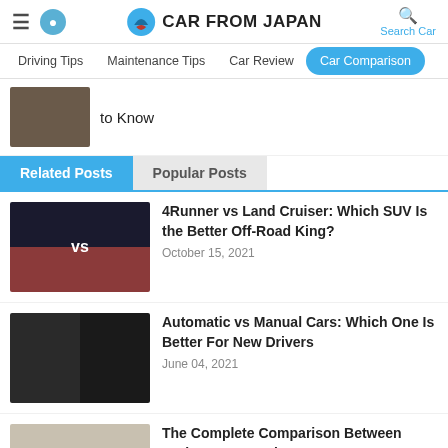Car From Japan
Driving Tips | Maintenance Tips | Car Review | Car Comparison
to Know
Related Posts | Popular Posts
4Runner vs Land Cruiser: Which SUV Is the Better Off-Road King? — October 15, 2021
Automatic vs Manual Cars: Which One Is Better For New Drivers — June 04, 2021
The Complete Comparison Between Probox Van Vs Nissan Vanette — April 23, 2021